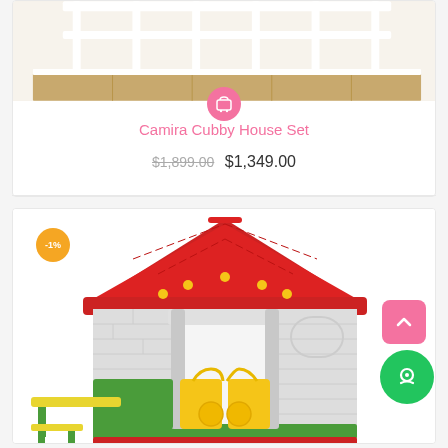[Figure (photo): Top portion of a wooden children's cubby house / loft bed with white rails and natural wood slats, partially cropped]
[Figure (illustration): Pink circular shopping cart / bag icon]
Camira Cubby House Set
$1,899.00  $1,349.00
[Figure (photo): Children's plastic playhouse with red roof, white brick-pattern walls, green base, yellow table and stools set, and yellow double gate doors. An orange -1% discount badge is in the upper left corner.]
[Figure (illustration): Pink square scroll-to-top button with upward chevron arrow]
[Figure (illustration): Green circular chat/messenger button icon]